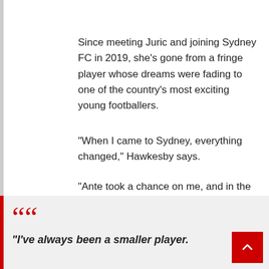Since meeting Juric and joining Sydney FC in 2019, she's gone from a fringe player whose dreams were fading to one of the country's most exciting young footballers.
“When I came to Sydney, everything changed,” Hawkesby says.
“Ante took a chance on me, and in the last three years, I’ve blossomed in ways I never thought I would.
“I’ve always been a smaller player.